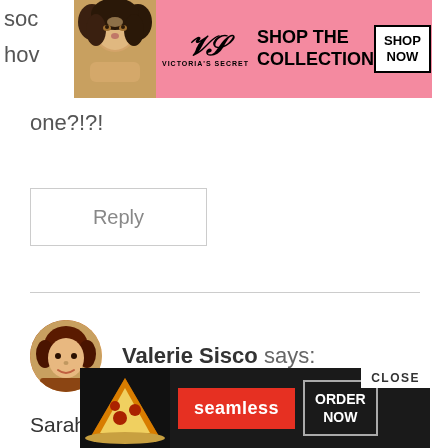[Figure (photo): Victoria's Secret advertisement banner with model, VS logo, 'SHOP THE COLLECTION' text, and 'SHOP NOW' button]
one?!?!
[Figure (other): Reply button with border]
Valerie Sisco says:
Sarah Ann,
Your photos are beautiful – I love them! What a wise and wond...pos...as.
[Figure (other): Seamless food delivery advertisement with pizza image, 'CLOSE' button, 'seamless' red button, and 'ORDER NOW' button]